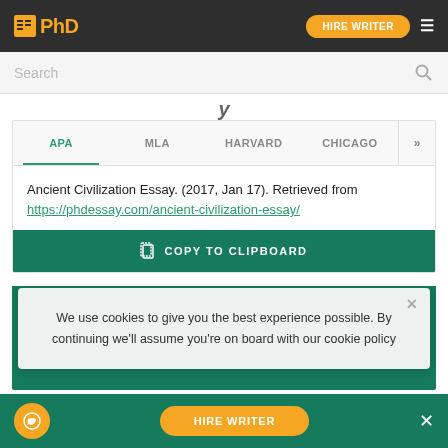PhD | HIRE WRITER
Search
APA | MLA | HARVARD | CHICAGO >>
Ancient Civilization Essay. (2017, Jan 17). Retrieved from https://phdessay.com/ancient-civilization-essay/
COPY TO CLIPBOARD
We use cookies to give you the best experience possible. By continuing we'll assume you're on board with our cookie policy
More related Essays
HIRE WRITER